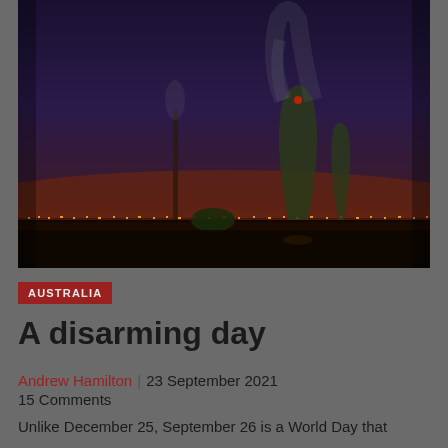[Figure (photo): Night photograph of nuclear power plant cooling towers silhouetted against a dark purple-red sky, with lights along the horizon]
AUSTRALIA
A disarming day
Andrew Hamilton | 23 September 2021
15 Comments
Unlike December 25, September 26 is a World Day that